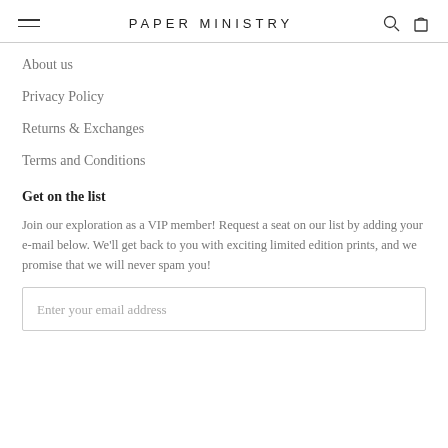PAPER MINISTRY
About us
Privacy Policy
Returns & Exchanges
Terms and Conditions
Get on the list
Join our exploration as a VIP member! Request a seat on our list by adding your e-mail below. We'll get back to you with exciting limited edition prints, and we promise that we will never spam you!
Enter your email address